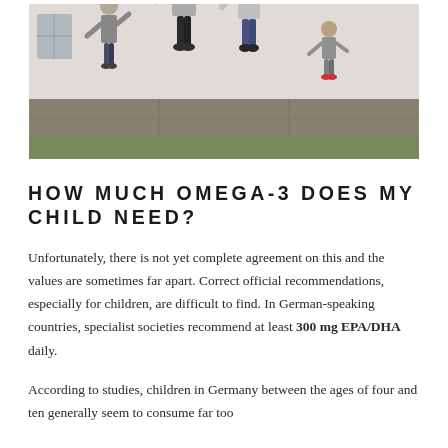[Figure (photo): Family with adults and two children walking and playing outdoors on a sidewalk near a wall and grass.]
HOW MUCH OMEGA-3 DOES MY CHILD NEED?
Unfortunately, there is not yet complete agreement on this and the values are sometimes far apart. Correct official recommendations, especially for children, are difficult to find. In German-speaking countries, specialist societies recommend at least 300 mg EPA/DHA daily.
According to studies, children in Germany between the ages of four and ten generally seem to consume far too